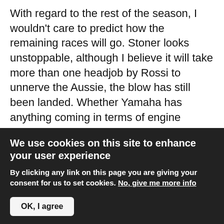With regard to the rest of the season, I wouldn't care to predict how the remaining races will go. Stoner looks unstoppable, although I believe it will take more than one headjob by Rossi to unnerve the Aussie, the blow has still been landed. Whether Yamaha has anything coming in terms of engine upgrades, remains to be seen. Pedrosa (recovery permitting) will be the proverbial fly in the ointment, taking points off both riders, so any predictions are, at best, shaky!
Log in or register to post comments
Awesome!
★ Site Supporter
We use cookies on this site to enhance your user experience
By clicking any link on this page you are giving your consent for us to set cookies. No, give me more info
OK, I agree